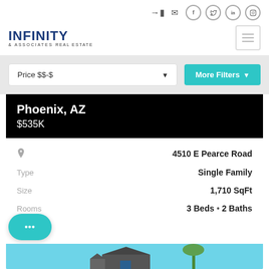[Figure (logo): Infinity & Associates Real Estate logo with navigation icons (login, mail, facebook, twitter, linkedin, instagram) and hamburger menu button]
Price $$-$
More Filters
Phoenix, AZ
$535K
|  |  |
| --- | --- |
| 📍 | 4510 E Pearce Road |
| Type | Single Family |
| Size | 1,710 SqFt |
| Rooms | 3 Beds • 2 Baths |
[Figure (photo): Bottom strip showing a house exterior with blue sky and palm tree]